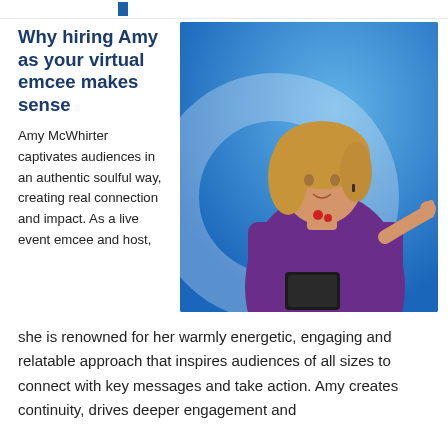Why hiring Amy as your virtual emcee makes sense
[Figure (photo): Woman in purple top presenting on stage with blue background and circular logo, pointing with one hand and holding a tablet]
Amy McWhirter captivates audiences in an authentic soulful way, creating real connection and impact. As a live event emcee and host, she is renowned for her warmly energetic, engaging and relatable approach that inspires audiences of all sizes to connect with key messages and take action. Amy creates continuity, drives deeper engagement and